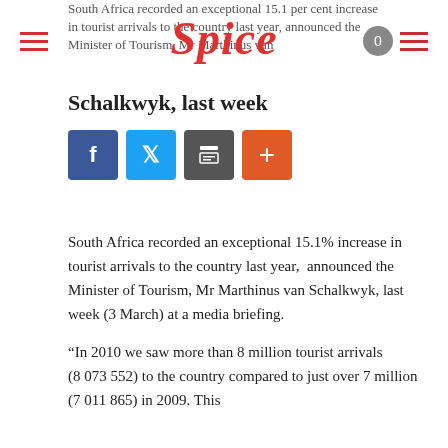South Africa recorded an exceptional 15.1 per cent increase in tourist arrivals to the country last year, announced the Minister of Tourism, Mr Marthinus van
Schalkwyk, last week
[Figure (other): Social sharing buttons: Facebook (blue), Twitter (light blue), Print (grey), Add/Plus (orange-red)]
South Africa recorded an exceptional 15.1% increase in tourist arrivals to the country last year, announced the Minister of Tourism, Mr Marthinus van Schalkwyk, last week (3 March) at a media briefing.
“In 2010 we saw more than 8 million tourist arrivals (8 073 552) to the country compared to just over 7 million (7 011 865) in 2009. This